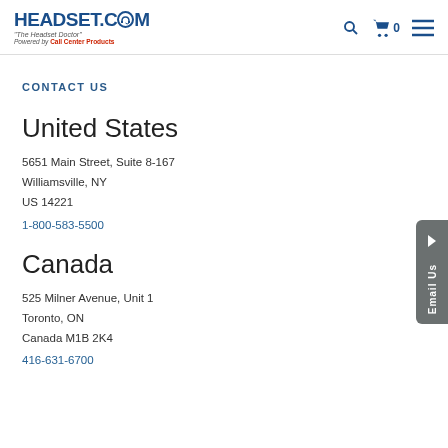HEADSET.COM - The Headset Doctor - Powered by Call Center Products
CONTACT US
United States
5651 Main Street, Suite 8-167
Williamsville, NY
US 14221
1-800-583-5500
Canada
525 Milner Avenue, Unit 1
Toronto, ON
Canada M1B 2K4
416-631-6700